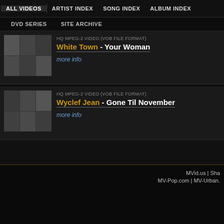ALL VIDEOS | ARTIST INDEX | SONG INDEX | ALBUM INDEX
DVD SERIES | SITE ARCHIVE
HQ MPEG-2 VIDEO (VOB FILE FORMAT)
White Town - Your Woman
more info
HQ MPEG-2 VIDEO (VOB FILE FORMAT)
Wyclef Jean - Gone Til November
more info
MVid.us | Sha... MV-Pop.com | MV-Urban...